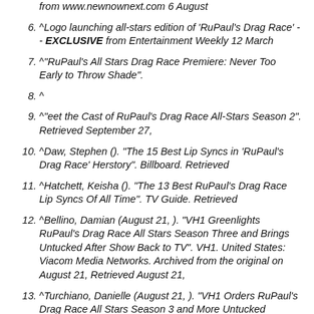from www.newnownext.com 6 August
6. ^Logo launching all-stars edition of 'RuPaul's Drag Race' -- EXCLUSIVE from Entertainment Weekly 12 March
7. ^"RuPaul's All Stars Drag Race Premiere: Never Too Early to Throw Shade".
8. ^
9. ^"eet the Cast of RuPaul's Drag Race All-Stars Season 2". Retrieved September 27,
10. ^Daw, Stephen (). "The 15 Best Lip Syncs in 'RuPaul's Drag Race' Herstory". Billboard. Retrieved
11. ^Hatchett, Keisha (). "The 13 Best RuPaul's Drag Race Lip Syncs Of All Time". TV Guide. Retrieved
12. ^Bellino, Damian (August 21, ). "VH1 Greenlights RuPaul's Drag Race All Stars Season Three and Brings Untucked After Show Back to TV". VH1. United States: Viacom Media Networks. Archived from the original on August 21, Retrieved August 21,
13. ^Turchiano, Danielle (August 21, ). "VH1 Orders RuPaul's Drag Race All Stars Season 3 and More Untucked (EXCLUSIVE)". Variety. United States.